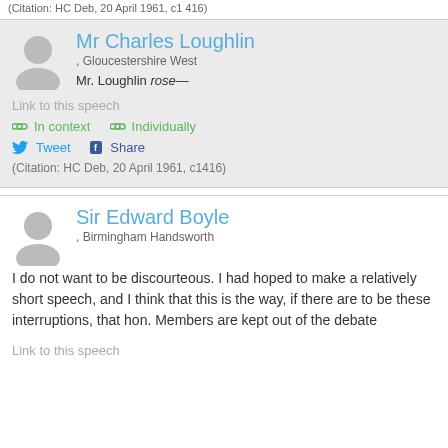(Citation: HC Deb, 20 April 1961, c1416)
Mr Charles Loughlin
, Gloucestershire West
Mr. Loughlin rose—
Link to this speech
In context   Individually
Tweet  Share
(Citation: HC Deb, 20 April 1961, c1416)
Sir Edward Boyle
, Birmingham Handsworth
I do not want to be discourteous. I had hoped to make a relatively short speech, and I think that this is the way, if there are to be these interruptions, that hon. Members are kept out of the debate
Link to this speech